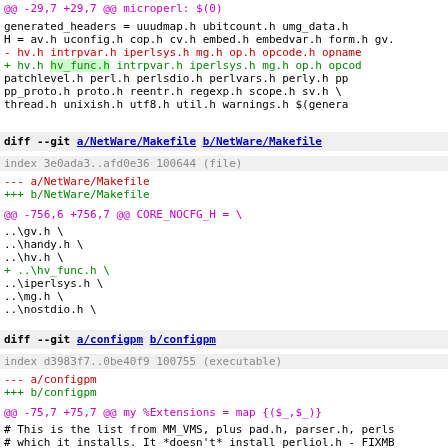@@ -29,7 +29,7 @@ microperl:    $(0)
generated_headers = uuudmap.h ubitcount.h umg_data.h
 H = av.h uconfig.h cop.h cv.h embed.h embedvar.h form.h gv.
-       hv.h intrpvar.h iperlsys.h mg.h op.h opcode.h opname
+       hv.h hv_func.h intrpvar.h iperlsys.h mg.h op.h opcod
        patchlevel.h perl.h perlsdio.h perlvars.h perly.h pp
        pp_proto.h proto.h reentr.h regexp.h scope.h sv.h \
        thread.h unixish.h utf8.h util.h warnings.h $(genera
diff --git a/NetWare/Makefile b/NetWare/Makefile
index 3e0ada3..afd0e36 100644 (file)
--- a/NetWare/Makefile
+++ b/NetWare/Makefile
@@ -756,6 +756,7 @@ CORE_NOCFG_H          =                         \
..\gv.h         \
                        ..\handy.h      \
                        ..\hv.h         \
+                       ..\hv_func.h    \
                        ..\iperlsys.h   \
                        ..\mg.h         \
                        ..\nostdio.h    \
diff --git a/configpm b/configpm
index d3983f7..0be40f9 100755 (executable)
--- a/configpm
+++ b/configpm
@@ -75,7 +75,7 @@ my %Extensions = map {($_,$_)}
# This is the list from MM_VMS, plus pad.h, parser.h, perls
 # which it installs. It *doesn't* install perliol.h - FIXMB
 my @header_files = qw(EXTERN.h INTERN.h XSUB.h av.h config